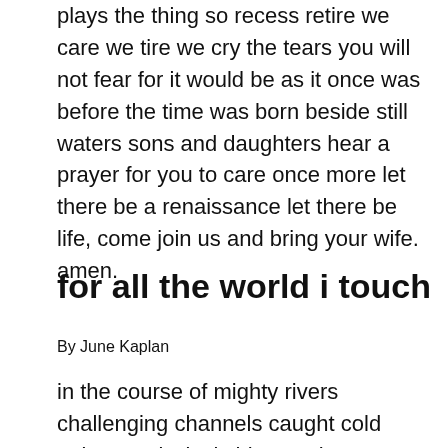plays the thing so recess retire we care we tire we cry the tears you will not fear for it would be as it once was before the time was born beside still waters sons and daughters hear a prayer for you to care once more let there be a renaissance let there be life, come join us and bring your wife.
amen.
for all the world i touch
By June Kaplan
in the course of mighty rivers challenging channels caught cold quivers quizzical shivers crimson creatures absorb light tints of night right